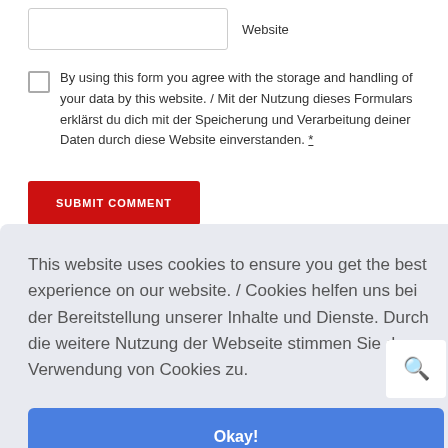Website
By using this form you agree with the storage and handling of your data by this website. / Mit der Nutzung dieses Formulars erklärst du dich mit der Speicherung und Verarbeitung deiner Daten durch diese Website einverstanden. *
SUBMIT COMMENT
This website uses cookies to ensure you get the best experience on our website. / Cookies helfen uns bei der Bereitstellung unserer Inhalte und Dienste. Durch die weitere Nutzung der Webseite stimmen Sie der Verwendung von Cookies zu.
Okay!